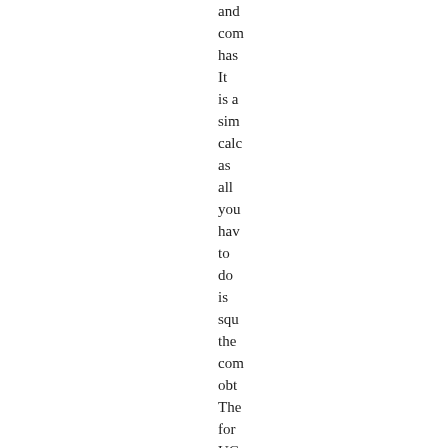and com has It is a sim calc as all you hav to do is squ the com obt The for UG the coe run